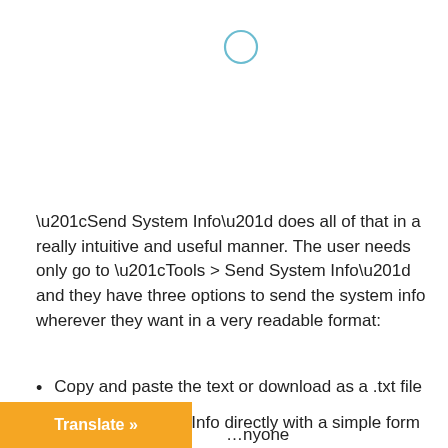[Figure (other): A circular loading or status indicator icon, thin teal/blue outline circle, centered at top of page]
“Send System Info” does all of that in a really intuitive and useful manner. The user needs only go to “Tools > Send System Info” and they have three options to send the system info wherever they want in a very readable format:
Copy and paste the text or download as a .txt file
Email the System Info directly with a simple form
Click a button to create a temporary URL on your site …anyone